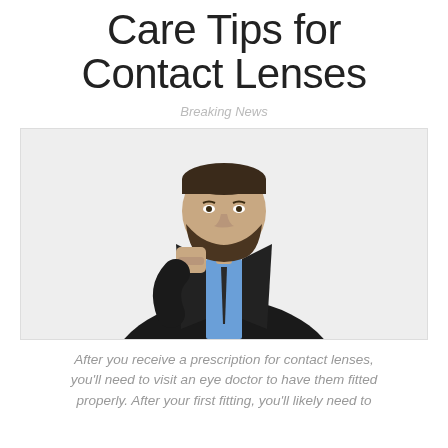Care Tips for Contact Lenses
Breaking News
[Figure (photo): A bearded man in a dark business suit with a blue shirt and dark tie, standing with one fist raised to chin level, looking at camera against a white background.]
After you receive a prescription for contact lenses, you'll need to visit an eye doctor to have them fitted properly. After your first fitting, you'll likely need to